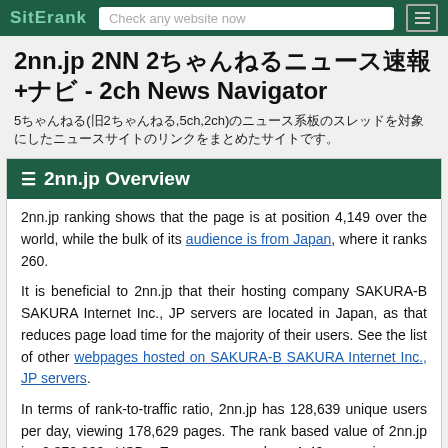SitErank   Check any website now
2nn.jp 2NN 2ちゃんねるニュース速報+ナビ - 2ch News Navigator
5ちゃんねる(旧2ちゃんねる,5ch,2ch)のニュース系板のスレッドを対象にしたニュースサイトのリンクをまとめたサイトです。
2nn.jp Overview
2nn.jp ranking shows that the page is at position 4,149 over the world, while the bulk of its audience is from Japan, where it ranks 260.
It is beneficial to 2nn.jp that their hosting company SAKURA-B SAKURA Internet Inc., JP servers are located in Japan, as that reduces page load time for the majority of their users. See the list of other webpages hosted on SAKURA-B SAKURA Internet Inc., JP servers.
In terms of rank-to-traffic ratio, 2nn.jp has 128,639 unique users per day, viewing 178,629 pages. The rank based value of 2nn.jp is 2,372,300 USD. Every user makes 1.49 pageviews on average.
2nn.jp top level domain belongs to JP domain zone...